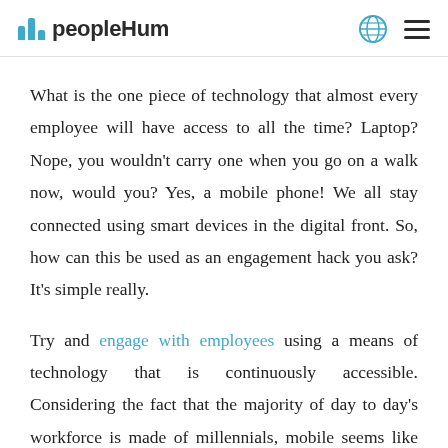peopleHum
What is the one piece of technology that almost every employee will have access to all the time? Laptop? Nope, you wouldn't carry one when you go on a walk now, would you? Yes, a mobile phone! We all stay connected using smart devices in the digital front. So, how can this be used as an engagement hack you ask? It's simple really.
Try and engage with employees using a means of technology that is continuously accessible. Considering the fact that the majority of day to day's workforce is made of millennials, mobile seems like the best way